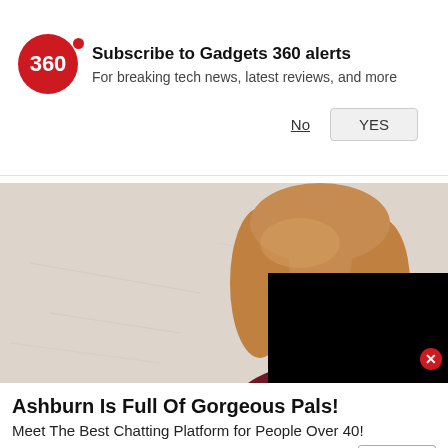[Figure (logo): Gadgets 360 red circular logo with '360' text and a small red dot]
Subscribe to Gadgets 360 alerts
For breaking tech news, latest reviews, and more
No
YES
[Figure (photo): A woman with short auburn/blonde bob haircut wearing a dark burgundy top, photographed against a light grey background. The right portion of the image is covered by a black rectangle overlay. A red close button appears in the lower right area.]
Ashburn Is Full Of Gorgeous Pals!
Meet The Best Chatting Platform for People Over 40!
AmourFeel | Sponsored
Try Now